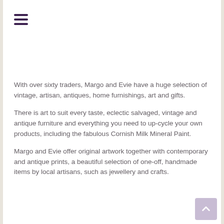[Figure (other): Hamburger menu icon (three horizontal dark purple lines)]
With over sixty traders, Margo and Evie have a huge selection of vintage, artisan, antiques, home furnishings, art and gifts.
There is art to suit every taste, eclectic salvaged, vintage and antique furniture and everything you need to up-cycle your own products, including the fabulous Cornish Milk Mineral Paint.
Margo and Evie offer original artwork together with contemporary and antique prints, a beautiful selection of one-off, handmade items by local artisans, such as jewellery and crafts.